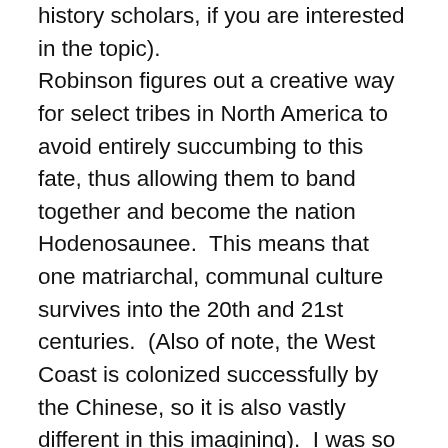history scholars, if you are interested in the topic). Robinson figures out a creative way for select tribes in North America to avoid entirely succumbing to this fate, thus allowing them to band together and become the nation Hodenosaunee.  This means that one matriarchal, communal culture survives into the 20th and 21st centuries.  (Also of note, the West Coast is colonized successfully by the Chinese, so it is also vastly different in this imagining).  I was so intrigued by the idea of a Native culture surviving and holding on to their land against invaders.  But, on the other hand, I do feel that the author cherry-picked those tribes whose values most closely aligned with his own to “save” in this imagining.  (For instance, all human sacrificing tribes still die out/are enslaved, the Plains tribes are all presented as extremely violent and thus not eligible for inclusion in this forward-thinking group).  To a certain extent, the Hodenosaunee